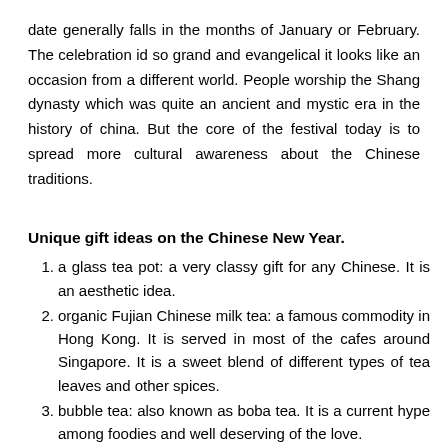date generally falls in the months of January or February. The celebration id so grand and evangelical it looks like an occasion from a different world. People worship the Shang dynasty which was quite an ancient and mystic era in the history of china. But the core of the festival today is to spread more cultural awareness about the Chinese traditions.
Unique gift ideas on the Chinese New Year.
a glass tea pot: a very classy gift for any Chinese. It is an aesthetic idea.
organic Fujian Chinese milk tea: a famous commodity in Hong Kong. It is served in most of the cafes around Singapore. It is a sweet blend of different types of tea leaves and other spices.
bubble tea: also known as boba tea. It is a current hype among foodies and well deserving of the love.
Chinese food magnets: this is a beloved gift for any home body who likes well maintained and nicely kept house.
phoenix claw jade trees: this is book that dives deeper into